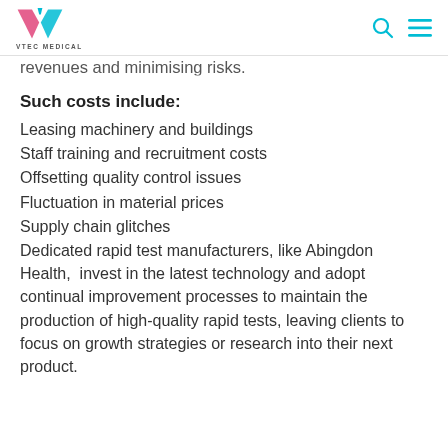VTEC MEDICAL
revenues and minimising risks.
Such costs include:
Leasing machinery and buildings
Staff training and recruitment costs
Offsetting quality control issues
Fluctuation in material prices
Supply chain glitches
Dedicated rapid test manufacturers, like Abingdon Health,  invest in the latest technology and adopt continual improvement processes to maintain the production of high-quality rapid tests, leaving clients to focus on growth strategies or research into their next product.